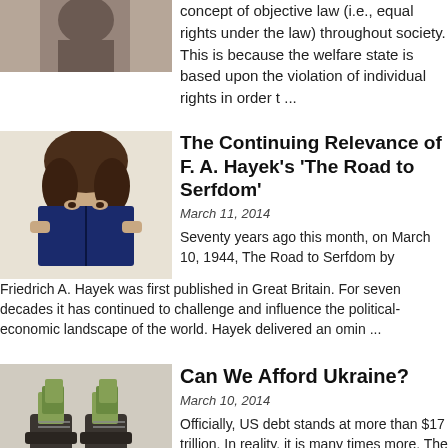[Figure (photo): Partial image of a person at the top left, cropped]
concept of objective law (i.e., equal rights under the law) throughout society. This is because the welfare state is based upon the violation of individual rights in order t ...
[Figure (photo): Woman reading a book, holding it up to her face]
The Continuing Relevance of F. A. Hayek's 'The Road to Serfdom'
March 11, 2014
Seventy years ago this month, on March 10, 1944, The Road to Serfdom by Friedrich A. Hayek was first published in Great Britain. For seven decades it has continued to challenge and influence the political-economic landscape of the world. Hayek delivered an omin ...
[Figure (photo): Military boots with dollar bills stuffed inside them]
Can We Afford Ukraine?
March 10, 2014
Officially, US debt stands at more than $17 trillion. In reality, it is many times more. The cost of the US invasion of